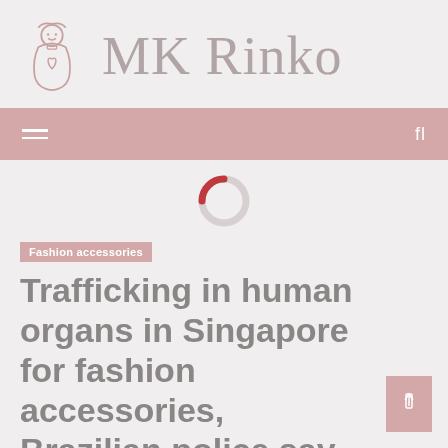MK Rinko
[Figure (logo): MK Rinko website logo with a matryoshka doll illustration and site name text]
[Figure (other): Pink navigation bar with hamburger menu icon on left and 'fl' text on right]
[Figure (other): Circular loading spinner, partially pink and partially light gray]
Fashion accessories
Trafficking in human organs in Singapore for fashion accessories, Brazilian police say